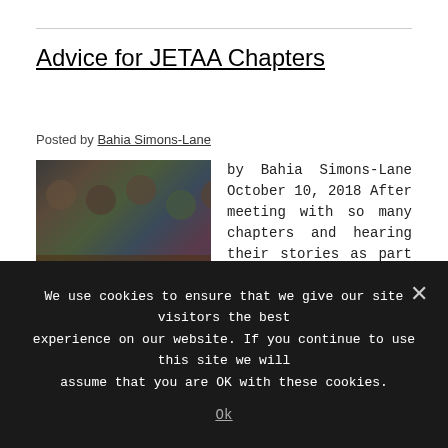Advice for JETAA Chapters
Posted by Bahia Simons-Lane
[Figure (photo): People sitting around a table in a meeting or dinner setting]
by Bahia Simons-Lane October 10, 2018 After meeting with so many chapters and hearing their stories as part of our leadership program, here are some general recommendations from USJETAA on how to deal with some of the most common issues: Establish a board of directors to help with maintaining institutional knowledge and to support transitions. Due to the volunteer nature of JETAA
We use cookies to ensure that we give our site visitors the best experience on our website. If you continue to use this site we will assume that you are OK with these cookies.
Ok